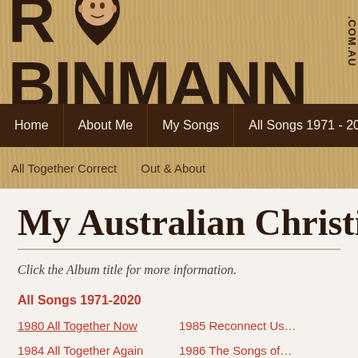[Figure (logo): ROBINMANN.COM.AU logo in dark brown bold text on wood-grain background, with a guitar pick shape containing a man's face replacing the letter O]
Home | About Me | My Songs | All Songs 1971 - 2020
All Together Correct | Out & About
My Australian Christian Son…
Click the Album title for more information.
All Songs 1971-2020
1980 All Together Now
1984 All Together Again
1991 All Together Everybody
1985 Reconnect Us…
1986 The Songs of…
1994 The Word Bec…